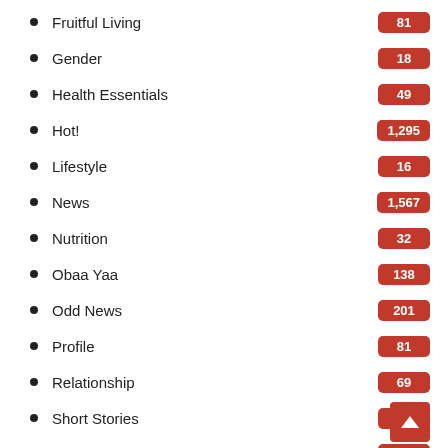Fruitful Living
Gender
Health Essentials
Hot!
Lifestyle
News
Nutrition
Obaa Yaa
Odd News
Profile
Relationship
Short Stories
Sports
world